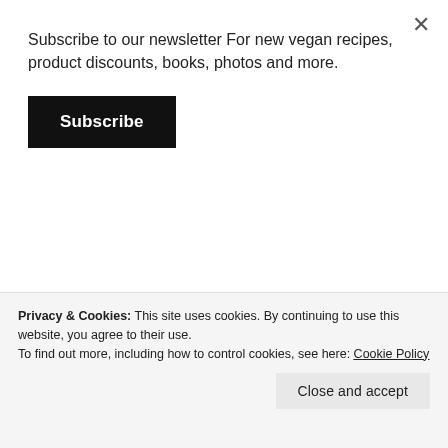Subscribe to our newsletter For new vegan recipes, product discounts, books, photos and more.
Subscribe
[Figure (photo): Two tattooed legs wearing white socks with text 'LIVIN' LIFE' and 'ON THE VEG', on a black bike stand]
Privacy & Cookies: This site uses cookies. By continuing to use this website, you agree to their use.
To find out more, including how to control cookies, see here: Cookie Policy
Close and accept